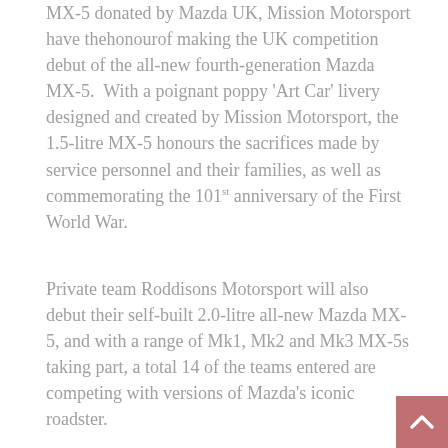MX-5 donated by Mazda UK, Mission Motorsport have the honour of making the UK competition debut of the all-new fourth-generation Mazda MX-5. With a poignant poppy 'Art Car' livery designed and created by Mission Motorsport, the 1.5-litre MX-5 honours the sacrifices made by service personnel and their families, as well as commemorating the 101st anniversary of the First World War.
Private team Roddisons Motorsport will also debut their self-built 2.0-litre all-new Mazda MX-5, and with a range of Mk1, Mk2 and Mk3 MX-5s taking part, a total 14 of the teams entered are competing with versions of Mazda's iconic roadster.
Commenting on Mazda's support, Mission Motorsport charity CEO, James Cameron said, "Mazda's support of this fantastic event is incredible. Race of Remembrance has fast become an institution – and we are very excited to be building the first 1.5 Mk4 MX-5 to race in the UK, which